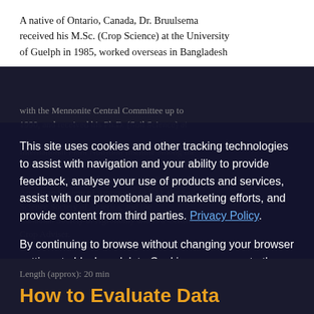A native of Ontario, Canada, Dr. Bruulsema received his M.Sc. (Crop Science) at the University of Guelph in 1985, worked overseas in Bangladesh
with the Mennonite Central Committee up to 1990, and received his Ph.D. (Soil Science) at ... the International Plant Nutrition Institute among the ... and is provided as a Fellow of the American Society of Agronomy (ASA), the Soil Science Society of America, and the Canadian Society of Agronomy and is a Certified Crop Adviser.
This site uses cookies and other tracking technologies to assist with navigation and your ability to provide feedback, analyse your use of products and services, assist with our promotional and marketing efforts, and provide content from third parties. Privacy Policy.
By continuing to browse without changing your browser settings to block or delete Cookies, you agree to the storing of Cookies and related technologies on your device.
Length (approx): 20 min
How to Evaluate Data